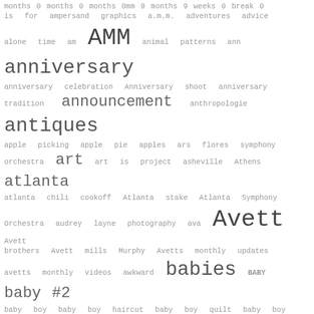months 0 months 0 months 0mm 9 months 9 weeks 0 break 0 is for ampersand graphics a.m.m. adventures advice alone time am AMM animal patterns ann anniversary anniversary celebration Anniversary shoot anniversary tradition announcement anthropologie antiques apple picking apple pie apples ars flores symphony orchestra art art is project asheville Athens atlanta atlanta chili cookoff Atlanta stake Atlanta Symphony Orchestra audrey layne photography ava Avett Avett brothers Avett mills Murphy Avetts monthly updates avetts monthly videos awkward babies BABY baby #2 baby boy baby boy haircut baby boy quilt baby boy shower baby captioned baby shower baby stuff Bacon bad days baking banana banner pillow barn party BBQ beach beauty bed bedroom being alone being looser dorks bek and joe Bekah belen berry picking best breakfast in Atlanta better than sex cake big changes bill bird birdcage birth birth minute birth story birthday birthday party birthdays biscuits blessing day blueberries Blueberry Pie blues board book bonfire books booty do bottle caps bow to the queen and king boy mobile brain storm bread breakfast breastfeeding breech baby bridal shower brothers brunch buca di beppo Bucket list budget bun bunting pillow busy buttons c section birth cake camp camping candelier car carrot